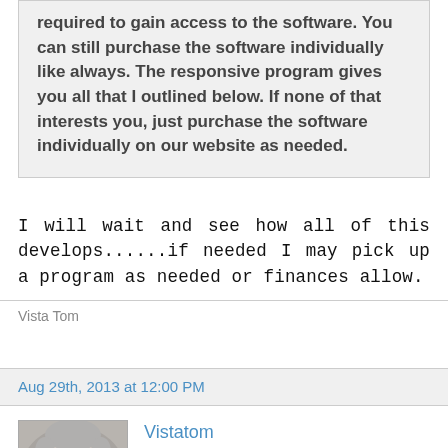required to gain access to the software. You can still purchase the software individually like always. The responsive program gives you all that I outlined below. If none of that interests you, just purchase the software individually on our website as needed.
I will wait and see how all of this develops......if needed I may pick up a program as needed or finances allow.
Vista Tom
Aug 29th, 2013 at 12:00 PM
Vistatom
Registered User
185 posts
[Figure (photo): Profile photo of an older man with gray hair and glasses]